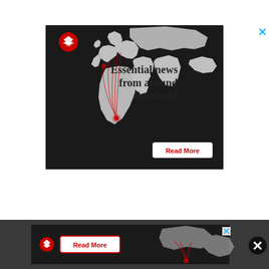[Figure (infographic): Advertisement banner for The Week magazine. Dark background with world map in grey. Red curved lines connect points on the map. Text reads 'Essential news from around the world'. Red eagle logo top-left. White 'Read More' button with red text bottom-right. Small blue X close button top-right corner.]
[Figure (infographic): Bottom strip advertisement for The Week magazine on dark grey background. Shows dark banner with red eagle logo, white 'Read More' button with red border, and partial world map with red connection lines. Small blue X close button and large black X circle button.]